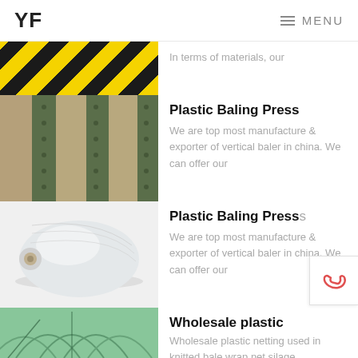YF  ≡ MENU
[Figure (photo): Partial view of yellow and black hazard/caution tape]
In terms of materials, our
[Figure (photo): Plastic mulch film on agricultural rows with crops]
Plastic Baling Press
We are top most manufacture & exporter of vertical baler in china. We can offer our
[Figure (photo): Roll of clear plastic film/sheeting]
Plastic Baling Press
We are top most manufacture & exporter of vertical baler in china. We can offer our
[Figure (photo): Interior of a plastic greenhouse tunnel]
Wholesale plastic
Wholesale plastic netting used in knitted bale wrap net silage